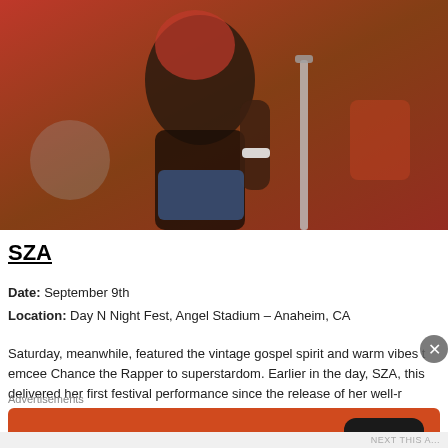[Figure (photo): Cropped photo of a performer (SZA) on stage, showing torso in crop top and denim shorts, with red-toned festival background and equipment visible]
SZA
Date: September 9th
Location: Day N Night Fest, Angel Stadium – Anaheim, CA
Saturday, meanwhile, featured the vintage gospel spirit and warm vibes t… emcee Chance the Rapper to superstardom. Earlier in the day, SZA, this delivered her first festival performance since the release of her well-r…
Advertisements
[Figure (photo): DuckDuckGo advertisement banner with orange background. Text reads: Search, browse, and email with more privacy. All in One Free App. Shows a dark phone mockup with DuckDuckGo logo.]